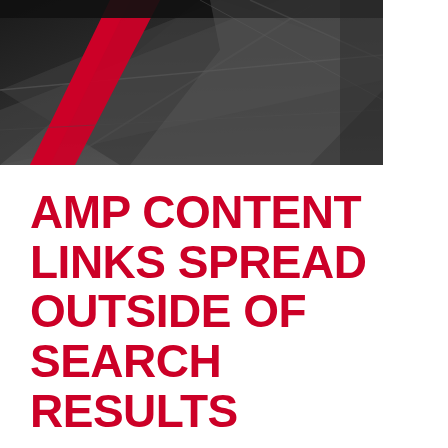[Figure (photo): Dark aerial/overhead photograph of a road or track surface with a red diagonal stripe/line and gray geometric shapes, taken from above. The image is predominantly dark grey and black tones with a single red stripe visible.]
AMP CONTENT LINKS SPREAD OUTSIDE OF SEARCH RESULTS